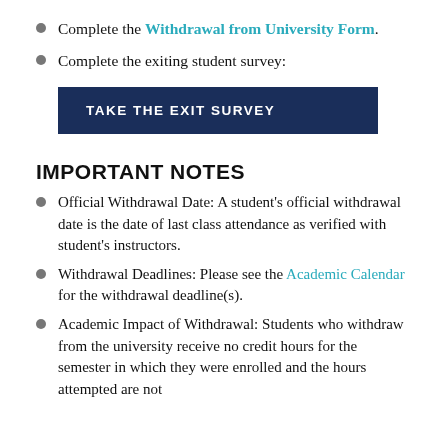Complete the Withdrawal from University Form.
Complete the exiting student survey:
[Figure (other): Dark blue button labeled TAKE THE EXIT SURVEY]
IMPORTANT NOTES
Official Withdrawal Date: A student's official withdrawal date is the date of last class attendance as verified with student's instructors.
Withdrawal Deadlines: Please see the Academic Calendar for the withdrawal deadline(s).
Academic Impact of Withdrawal: Students who withdraw from the university receive no credit hours for the semester in which they were enrolled and the hours attempted are not